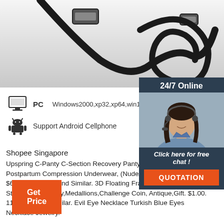[Figure (photo): USB cables coiled on a gray background, showing USB connectors]
[Figure (infographic): PC monitor icon with text: Windows2000,xp32,xp64,win10 ,win7, vista; Android robot icon with text: Support Android Cellphone]
[Figure (photo): 24/7 Online chat widget with a customer service representative wearing a headset, Click here for free chat! and QUOTATION button]
Shopee Singapore
Upspring C-Panty C-Section Recovery Panty, Classic Postpartum Compression Underwear, (Nude/Black, $63.18. 17 sold. Find Similar. 3D Floating Frame Display Stands For Jewelry,Medallions,Challenge Coin, Antique,Gift. $1.00. 110 sold. Find Similar. Evil Eye Necklace Turkish Blue Eyes Necklace Jewelry.
[Figure (logo): TOP button with orange dots in an arch above the word TOP]
[Figure (other): Get Price orange button]